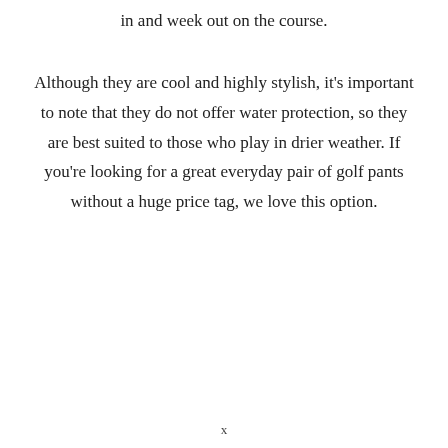in and week out on the course.
Although they are cool and highly stylish, it's important to note that they do not offer water protection, so they are best suited to those who play in drier weather. If you're looking for a great everyday pair of golf pants without a huge price tag, we love this option.
x